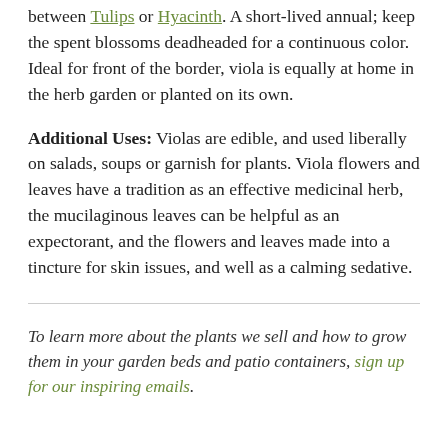between Tulips or Hyacinth. A short-lived annual; keep the spent blossoms deadheaded for a continuous color. Ideal for front of the border, viola is equally at home in the herb garden or planted on its own.
Additional Uses: Violas are edible, and used liberally on salads, soups or garnish for plants. Viola flowers and leaves have a tradition as an effective medicinal herb, the mucilaginous leaves can be helpful as an expectorant, and the flowers and leaves made into a tincture for skin issues, and well as a calming sedative.
To learn more about the plants we sell and how to grow them in your garden beds and patio containers, sign up for our inspiring emails.